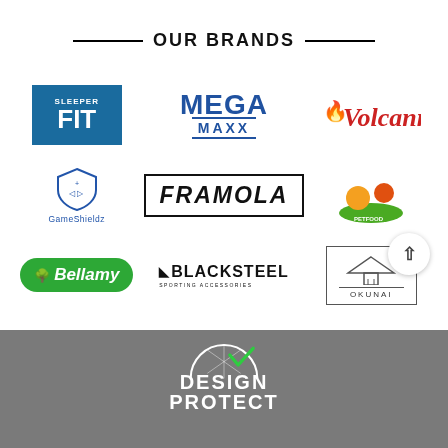OUR BRANDS
[Figure (logo): SleeperFit logo - blue square with SLEEPER FIT text in white]
[Figure (logo): MEGA MAXX logo in blue with underline]
[Figure (logo): Volcann logo in red italic with flame]
[Figure (logo): GameShieldz logo with shield icon and blue text]
[Figure (logo): FRAMOLA logo in black bold italic with border]
[Figure (logo): Animal/pet brand logo with cartoon characters]
[Figure (logo): Bellamy logo - green pill shape with white text]
[Figure (logo): BLACKSTEEL sporting accessories logo]
[Figure (logo): OKUNAI logo with house icon in border]
[Figure (logo): DESIGN PROTECT logo on grey background with arc and checkmark]